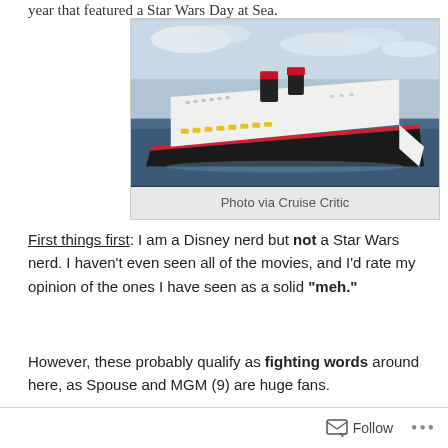year that featured a Star Wars Day at Sea.
[Figure (photo): Aerial/side view of a Disney cruise ship at sea with red and black funnels, white hull, on blue ocean water.]
Photo via Cruise Critic
First things first: I am a Disney nerd but not a Star Wars nerd. I haven't even seen all of the movies, and I'd rate my opinion of the ones I have seen as a solid "meh."
However, these probably qualify as fighting words around here, as Spouse and MGM (9) are huge fans.
Follow ...